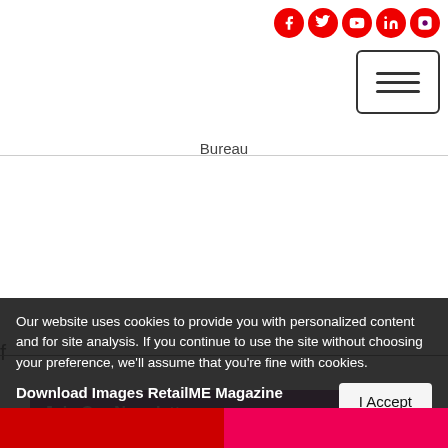[Figure (other): Social media icons (Facebook, Twitter, YouTube, LinkedIn, Instagram) in red circles, top right]
[Figure (other): Hamburger menu button (three horizontal lines in a bordered box), top right below social icons]
Bureau
f
Join Our Newsletter
Email
Our website uses cookies to provide you with personalized content and for site analysis. If you continue to use the site without choosing your preference, we'll assume that you're fine with cookies.
Download Images RetailME Magazine
I Accept